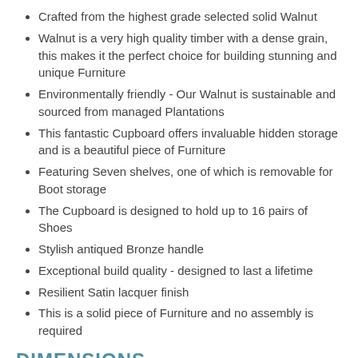Crafted from the highest grade selected solid Walnut
Walnut is a very high quality timber with a dense grain, this makes it the perfect choice for building stunning and unique Furniture
Environmentally friendly - Our Walnut is sustainable and sourced from managed Plantations
This fantastic Cupboard offers invaluable hidden storage and is a beautiful piece of Furniture
Featuring Seven shelves, one of which is removable for Boot storage
The Cupboard is designed to hold up to 16 pairs of Shoes
Stylish antiqued Bronze handle
Exceptional build quality - designed to last a lifetime
Resilient Satin lacquer finish
This is a solid piece of Furniture and no assembly is required
DIMENSIONS
The overall dimensions of the Cabinet are: H 180 cm x W